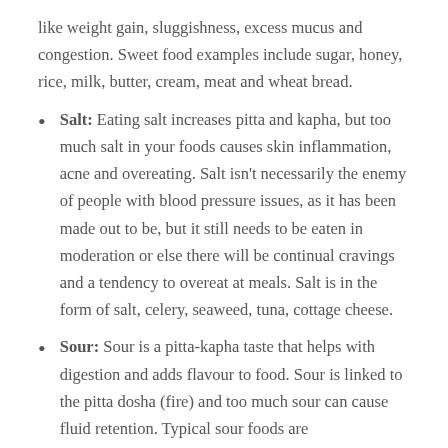like weight gain, sluggishness, excess mucus and congestion. Sweet food examples include sugar, honey, rice, milk, butter, cream, meat and wheat bread.
Salt: Eating salt increases pitta and kapha, but too much salt in your foods causes skin inflammation, acne and overeating. Salt isn't necessarily the enemy of people with blood pressure issues, as it has been made out to be, but it still needs to be eaten in moderation or else there will be continual cravings and a tendency to overeat at meals. Salt is in the form of salt, celery, seaweed, tuna, cottage cheese.
Sour: Sour is a pitta-kapha taste that helps with digestion and adds flavour to food. Sour is linked to the pitta dosha (fire) and too much sour can cause fluid retention. Typical sour foods are